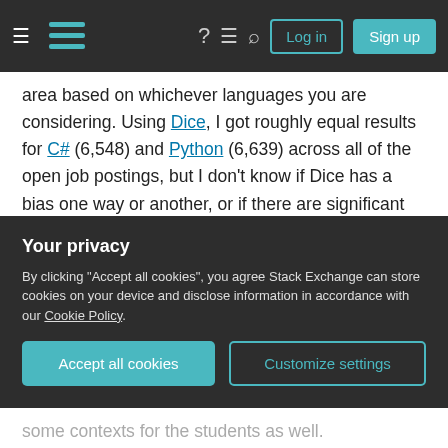Stack Exchange navigation bar with Log in and Sign up buttons
area based on whichever languages you are considering. Using Dice, I got roughly equal results for C# (6,548) and Python (6,639) across all of the open job postings, but I don't know if Dice has a bias one way or another, or if there are significant regional differences.
Hardware Portability: Maybe half a point here - I don't think there is a lot of support for programming microcontrollers with C# other than a couple specialty .NET boards like the
Your privacy
By clicking "Accept all cookies", you agree Stack Exchange can store cookies on your device and disclose information in accordance with our Cookie Policy.
Accept all cookies  Customize settings
some contexts for the students as well.